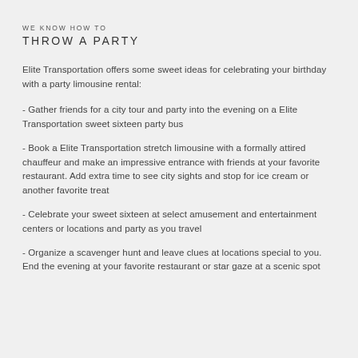WE KNOW HOW TO THROW A PARTY
Elite Transportation offers some sweet ideas for celebrating your birthday with a party limousine rental:
- Gather friends for a city tour and party into the evening on a Elite Transportation sweet sixteen party bus
- Book a Elite Transportation stretch limousine with a formally attired chauffeur and make an impressive entrance with friends at your favorite restaurant. Add extra time to see city sights and stop for ice cream or another favorite treat
- Celebrate your sweet sixteen at select amusement and entertainment centers or locations and party as you travel
- Organize a scavenger hunt and leave clues at locations special to you. End the evening at your favorite restaurant or star gaze at a scenic spot